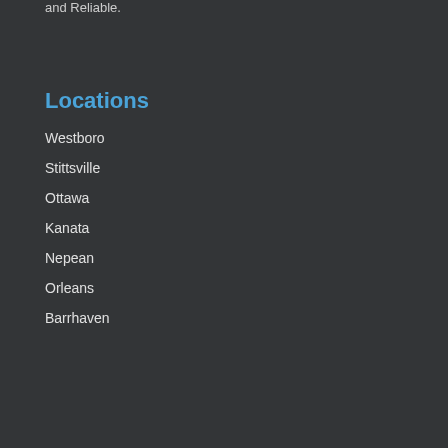and Reliable.
Locations
Westboro
Stittsville
Ottawa
Kanata
Nepean
Orleans
Barrhaven